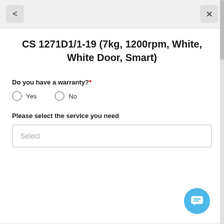< [back] × [close]
CS 1271D1/1-19 (7kg, 1200rpm, White, White Door, Smart)
Do you have a warranty?*
Yes
No
Please select the service you need
Select